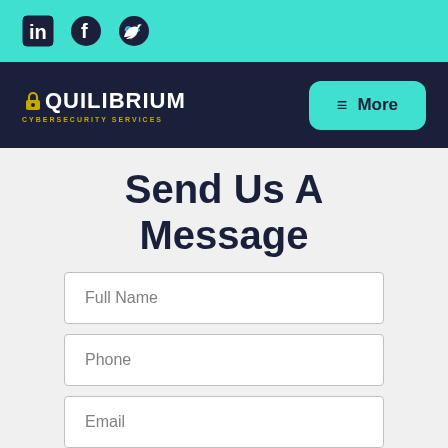LinkedIn, Facebook, Twitter social icons
[Figure (logo): Equilibrium Cybersecurity Services logo with padlock icon and More navigation button]
Send Us A Message
Full Name
Phone
Email